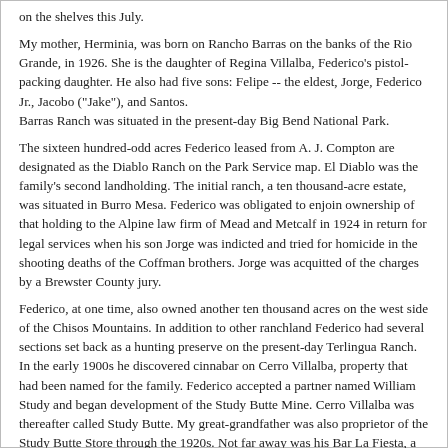on the shelves this July.
My mother, Herminia, was born on Rancho Barras on the banks of the Rio Grande, in 1926. She is the daughter of Regina Villalba, Federico's pistol-packing daughter. He also had five sons: Felipe -- the eldest, Jorge, Federico Jr., Jacobo ("Jake"), and Santos.
Barras Ranch was situated in the present-day Big Bend National Park.
The sixteen hundred-odd acres Federico leased from A. J. Compton are designated as the Diablo Ranch on the Park Service map. El Diablo was the family's second landholding. The initial ranch, a ten thousand-acre estate, was situated in Burro Mesa. Federico was obligated to enjoin ownership of that holding to the Alpine law firm of Mead and Metcalf in 1924 in return for legal services when his son Jorge was indicted and tried for homicide in the shooting deaths of the Coffman brothers. Jorge was acquitted of the charges by a Brewster County jury.
Federico, at one time, also owned another ten thousand acres on the west side of the Chisos Mountains. In addition to other ranchland Federico had several sections set back as a hunting preserve on the present-day Terlingua Ranch. In the early 1900s he discovered cinnabar on Cerro Villalba, property that had been named for the family. Federico accepted a partner named William Study and began development of the Study Butte Mine. Cerro Villalba was thereafter called Study Butte. My great-grandfather was also proprietor of the Study Butte Store through the 1920s. Not far away was his Bar La Fiesta, a local "waterin" hole. Across the Rio Grande Federico also owned five-thousand acres in the vicinity of old San Carlos, which today is known as Manuel Benavides; additionally he had a successful talabarteria, or leather goods shop, at Santa Elena on the Chihuahua side across from today's Castol'n (originally also called Santa Elena) in the national park.
For the two years I engaged in research hardly any contemporary documentation of Federico's holdings and accomplishments in the Big Bend came to light. It seemed almost as those had been hidden away. Kenneth B. Ragsdale in his tome Quicksilver: Terlingua and the Chisos Mining Company (Texas A&M University Press, 1976), did, however, single out and devote an entire chapter to the shooting of the Coffman boys and of Jorge Villalba's trial. Ragsdale also mentioned my great-uncle Jake's murder in November, 1931, and the purloining of the family property in the Chisos.
By and large, the record of Villalba experiences in the Big Bend has been condensed